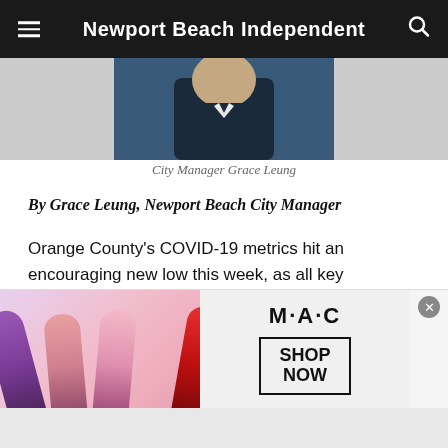Newport Beach Independent
[Figure (photo): Partial photo of City Manager Grace Leung, showing dark jacket against dark background, cropped at top]
City Manager Grace Leung
By Grace Leung, Newport Beach City Manager
Orange County's COVID-19 metrics hit an encouraging new low this week, as all key categories dropped below 1 for the first time since the State of California developed the Blueprint for a Safer Economy tracking system.
The County's 7-day average daily case number (per 100,000
[Figure (screenshot): MAC Cosmetics advertisement banner showing lipsticks in purple, pink, and red with MAC logo and 'SHOP NOW' button]